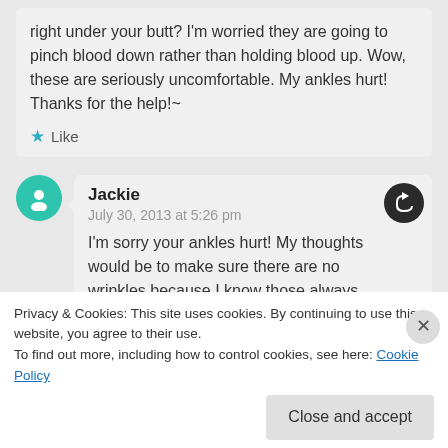right under your butt? I'm worried they are going to pinch blood down rather than holding blood up. Wow, these are seriously uncomfortable. My ankles hurt! Thanks for the help!~
Like
Jackie
July 30, 2013 at 5:26 pm
I'm sorry your ankles hurt! My thoughts would be to make sure there are no wrinkles because I know those always hurt on me. I
Privacy & Cookies: This site uses cookies. By continuing to use this website, you agree to their use.
To find out more, including how to control cookies, see here: Cookie Policy
Close and accept